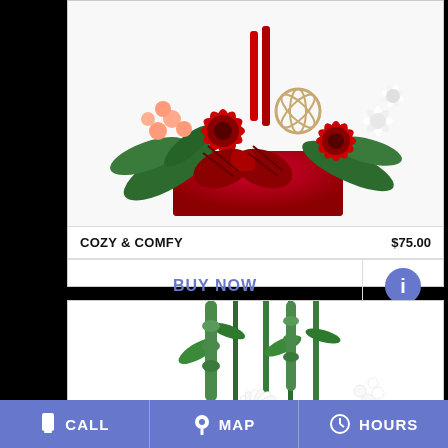[Figure (photo): Floral arrangement called Cozy & Comfy in a red box with red gerbera daisies, white flowers, berries, greenery, and a plaid ribbon bow]
COZY & COMFY   $75.00
BUY NOW
[Figure (photo): Bottom portion of a white floral arrangement with green stems and white chrysanthemum flowers]
CALL   MAP   HOURS